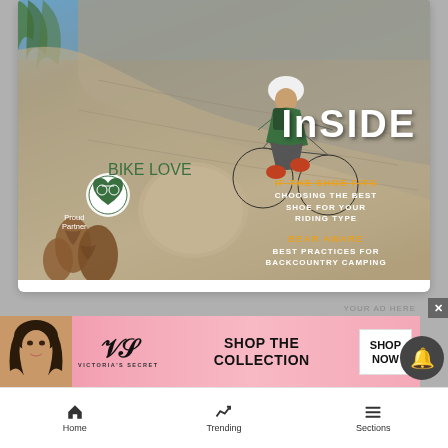[Figure (photo): Mountain biker riding down a rocky granite slope wearing a white helmet and green shirt, carrying a backpack, with pine cones and rocks in foreground. Text overlay reads INSIDE, IF THE SHOE FITS - CHOOSING THE BEST SHOE FOR YOUR RIDING TYPE, BEAR AWARE - BEST PRACTICES FOR BACKCOUNTRY CAMPING. Bike Love logo badge with 'Proud Partner' text in lower left.]
YOUR AD HERE
[Figure (photo): Victoria's Secret advertisement banner with woman with curly hair, VS logo, text SHOP THE COLLECTION, and SHOP NOW button on pink background]
Home
Trending
Sections